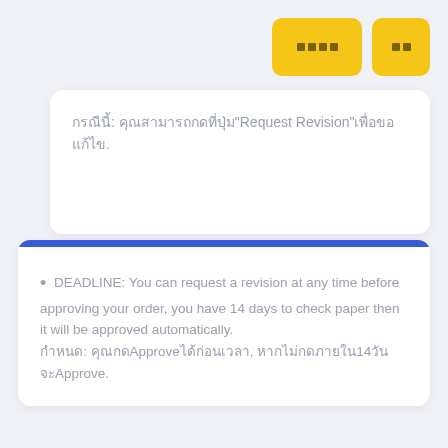[Figure (other): Two yellow rounded rectangle buttons with small dotted/icon text in the top right corner]
กรณีนี้: คุณสามารถกดที่ปุ่ม"Request Revision"เพื่อขอแก้ไข.
DEADLINE: You can request a revision at any time before approving your order, you have 14 days to check paper then it will be approved automatically. กำหนด: คุณกด Approve ได้ก่อนเวลา, หากไม่กดภายใน 14 วันจะ Approve.